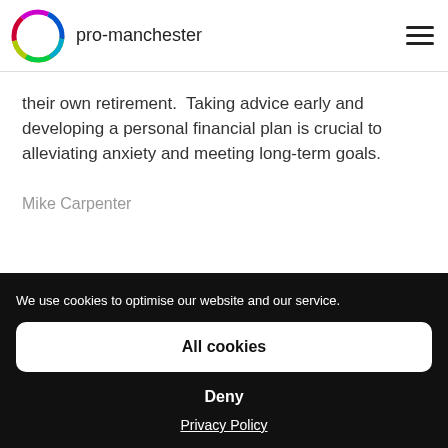pro-manchester
their own retirement.  Taking advice early and developing a personal financial plan is crucial to alleviating anxiety and meeting long-term goals.
Mike Carpenter
We use cookies to optimise our website and our service.
All cookies
Deny
Privacy Policy